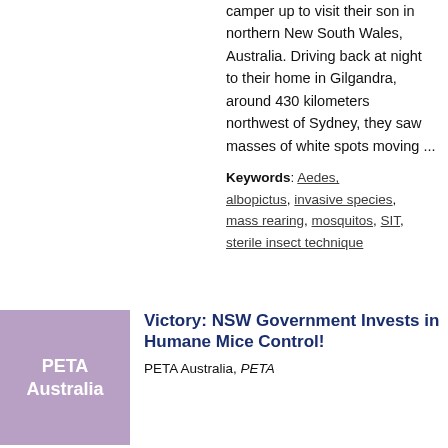camper up to visit their son in northern New South Wales, Australia. Driving back at night to their home in Gilgandra, around 430 kilometers northwest of Sydney, they saw masses of white spots moving ...
Keywords: Aedes, albopictus, invasive species, mass rearing, mosquitos, SIT, sterile insect technique
[Figure (logo): Purple/mauve square thumbnail with white bold text reading 'PETA Australia']
Victory: NSW Government Invests in Humane Mice Control!
PETA Australia, PETA